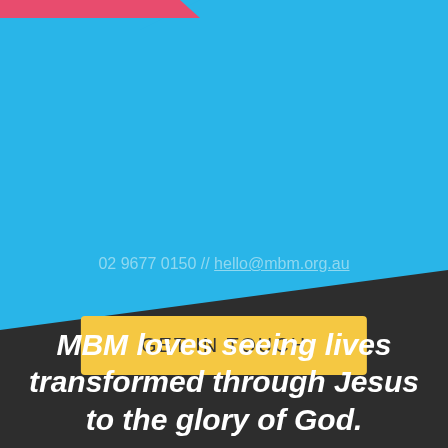[Figure (infographic): Blue angled background with pink/red accent strip in upper left corner and yellow 'GET IN TOUCH' button, with contact details below]
GET IN TOUCH
02 9677 0150 // hello@mbm.org.au
MBM loves seeing lives transformed through Jesus to the glory of God.